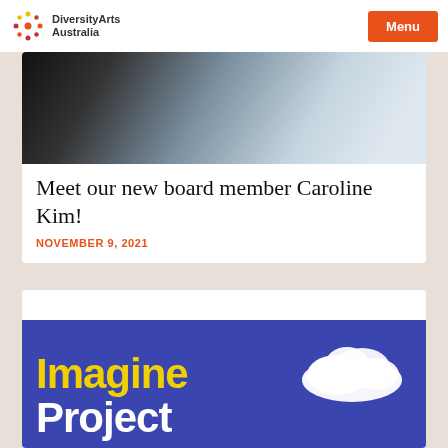Diversity Arts Australia | Menu
[Figure (photo): Photo of a woman with long brown hair, wearing a light blue shirt, against a dark background]
Meet our new board member Caroline Kim!
NOVEMBER 9, 2021
[Figure (illustration): Blue background promotional image with yellow text reading 'Imagine' and white text reading 'Project', with a white cloud on the right side]